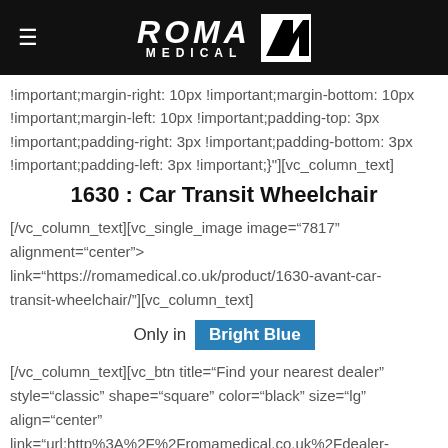ROMA MEDICAL
!important;margin-right: 10px !important;margin-bottom: 10px !important;margin-left: 10px !important;padding-top: 3px !important;padding-right: 3px !important;padding-bottom: 3px !important;padding-left: 3px !important;}"]}[vc_column_text]
1630 : Car Transit Wheelchair
[/vc_column_text][vc_single_image image="7817" alignment="center" onclick="custom_link" link="https://romamedical.co.uk/product/1630-avant-car-transit-wheelchair/"][vc_column_text]
Only in Bright Blue
[/vc_column_text][vc_btn title="Find your nearest dealer" style="classic" shape="square" color="black" size="lg" align="center" link="url:http%3A%2F%2Fromamedical.co.uk%2Fdealer-